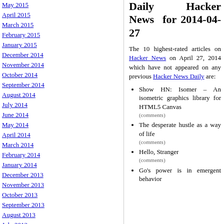May 2015
April 2015
March 2015
February 2015
January 2015
December 2014
November 2014
October 2014
September 2014
August 2014
July 2014
June 2014
May 2014
April 2014
March 2014
February 2014
January 2014
December 2013
November 2013
October 2013
September 2013
August 2013
July 2013
Daily Hacker News for 2014-04-27
The 10 highest-rated articles on Hacker News on April 27, 2014 which have not appeared on any previous Hacker News Daily are:
Show HN: Isomer – An isometric graphics library for HTML5 Canvas
(comments)
The desperate hustle as a way of life
(comments)
Hello, Stranger
(comments)
Go's power is in emergent behavior